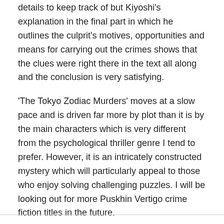details to keep track of but Kiyoshi's explanation in the final part in which he outlines the culprit's motives, opportunities and means for carrying out the crimes shows that the clues were right there in the text all along and the conclusion is very satisfying.
'The Tokyo Zodiac Murders' moves at a slow pace and is driven far more by plot than it is by the main characters which is very different from the psychological thriller genre I tend to prefer. However, it is an intricately constructed mystery which will particularly appeal to those who enjoy solving challenging puzzles. I will be looking out for more Puskhin Vertigo crime fiction titles in the future.
Share this: